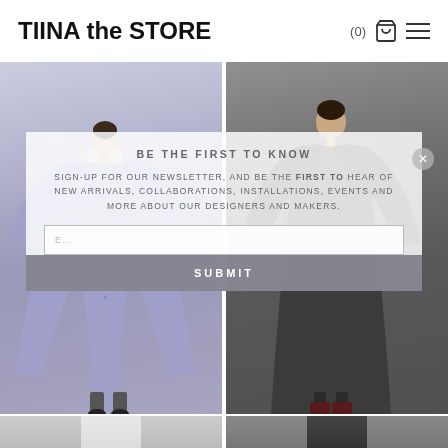TIINA the STORE | (0) [cart] [menu]
[Figure (photo): Two fashion models in a 2-column grid. Left model wears a pale blue/lavender oversized patterned shirt dress with a flared skirt and black socks with black shoes. Right model wears a dark grey/charcoal long coat dress with burgundy ankle boots.]
BE THE FIRST TO KNOW
SIGN-UP FOR OUR NEWSLETTER, AND BE THE FIRST TO HEAR OF NEW ARRIVALS, COLLABORATIONS, INSTALLATIONS, EVENTS AND MORE ABOUT OUR DESIGNERS AND MAKERS.
E...
SUBMIT
[Figure (photo): Bottom row of fashion model photos, partially visible. Left: close-up of model with dark hair wearing a white-collared top. Right: close-up of model with dark hair wearing a dark grey/charcoal drape coat.]